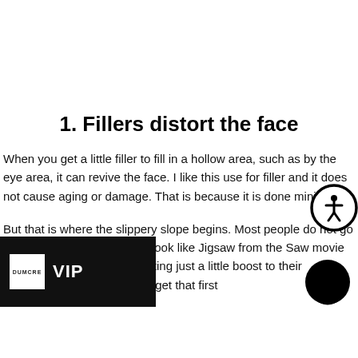1. Fillers distort the face
When you get a little filler to fill in a hollow area, such as by the eye area, it can revive the face. I like this use for filler and it does not cause aging or damage. That is because it is done minimally.
But that is where the slippery slope begins. Most people do not go in for injections intending to look like Jigsaw from the Saw movie franchise. They start off wanting just a little boost to their appearance. And when they get that first
[Figure (logo): VIP overlay with Dumcre logo and VIP text on black background]
[Figure (illustration): Accessibility icon - circular icon with person figure]